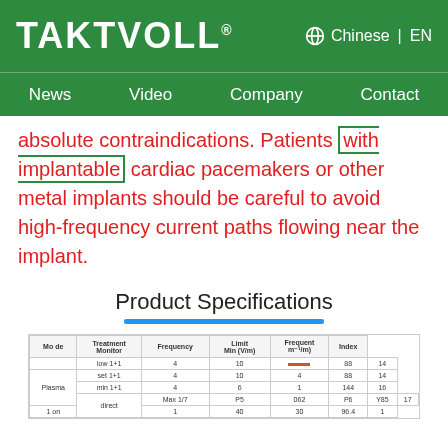TAKTVOLL® | Chinese | EN | News | Video | Company | Contact
absolute contraindications. Patients with implantable cardiac pacemakers or other metal implants should be careful to avoid high-frequency current paths flowing near the implant.
Product Specifications
| Model | Treatment Intensity | Frequency | Limit (V/m) | Temperature (°C) | Index |
| --- | --- | --- | --- | --- | --- |
|  | low 1 | 4 | 10 | — | 88 | 14 |
| Plasma | set 1+1 | 4 | 10 | 4 | 88 | 14 |
|  | min 1+1 | 4 | 6 | 1 | 144 | 16 |
| direct | Max 1/7 | P5 | 062 | P6 | Y85 | 17 |
|  | 1 on | 1 | 40 | 30 | 96.4 | 1 |